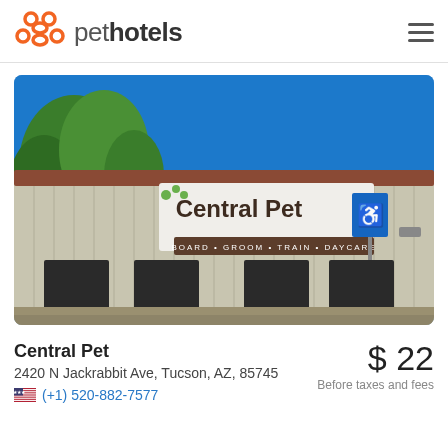pethotels
[Figure (photo): Exterior photo of Central Pet building, a metal warehouse-style structure with a large sign reading 'Central Pet' with green paw print logo, and below it 'BOARD • GROOM • TRAIN • DAYCARE'. A blue handicap parking sign is visible on a pole to the right. Blue sky and green trees in background.]
Central Pet
2420 N Jackrabbit Ave, Tucson, AZ, 85745
(+1) 520-882-7577
$ 22
Before taxes and fees